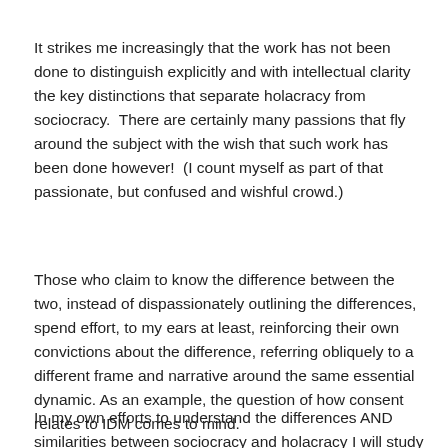It strikes me increasingly that the work has not been done to distinguish explicitly and with intellectual clarity the key distinctions that separate holacracy from sociocracy.  There are certainly many passions that fly around the subject with the wish that such work has been done however!  (I count myself as part of that passionate, but confused and wishful crowd.)
Those who claim to know the difference between the two, instead of dispassionately outlining the differences, spend effort, to my ears at least, reinforcing their own convictions about the difference, referring obliquely to a different frame and narrative around the same essential dynamic. As an example, the question of how consent relates to IDM comes to mind.
In my own efforts to understand the differences AND similarities between sociocracy and holacracy I will study that